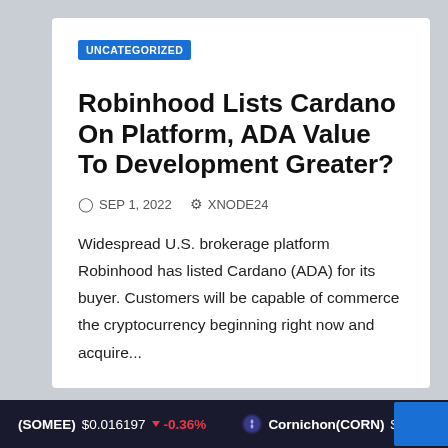UNCATEGORIZED
Robinhood Lists Cardano On Platform, ADA Value To Development Greater?
SEP 1, 2022   XNODE24
Widespread U.S. brokerage platform Robinhood has listed Cardano (ADA) for its buyer. Customers will be capable of commerce the cryptocurrency beginning right now and acquire...
(SOMEE) $0.016197 -0.36%   Cornichon(CORN) $0.073096 -0.